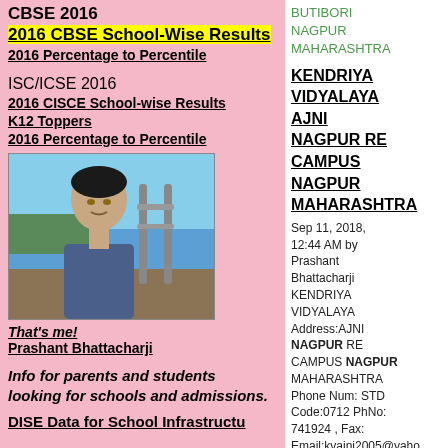CBSE 2016
2016 CBSE School-Wise Results
2016 Percentage to Percentile
ISC/ICSE 2016
2016 CISCE School-wise Results
K12 Toppers
2016 Percentage to Percentile
[Figure (photo): Photo of Prashant Bhattacharji outdoors near railing with sea/water in background]
That's me!
Prashant Bhattacharji
Info for parents and students looking for schools and admissions.
DISE Data for School Infrastructure
BUTIBORI
NAGPUR
MAHARASHTRA
KENDRIYA VIDYALAYA AJNI NAGPUR RE CAMPUS NAGPUR MAHARASHTRA
Sep 11, 2018, 12:44 AM by Prashant Bhattacharji KENDRIYA VIDYALAYA Address:AJNI NAGPUR RE CAMPUS NAGPUR MAHARASHTRA Phone Num: STD Code:0712 PhNo: 741924 , Fax: Email:kvajni2005@yaho Website: The school is affiliated to the CBSE (Central ...